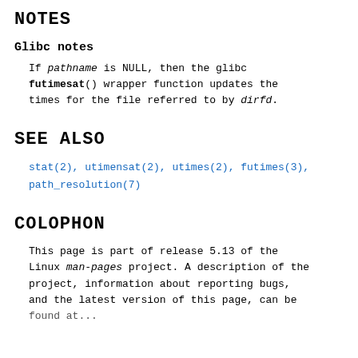NOTES
Glibc notes
If pathname is NULL, then the glibc futimesat() wrapper function updates the times for the file referred to by dirfd.
SEE ALSO
stat(2), utimensat(2), utimes(2), futimes(3), path_resolution(7)
COLOPHON
This page is part of release 5.13 of the Linux man-pages project. A description of the project, information about reporting bugs, and the latest version of this page, can be found at...